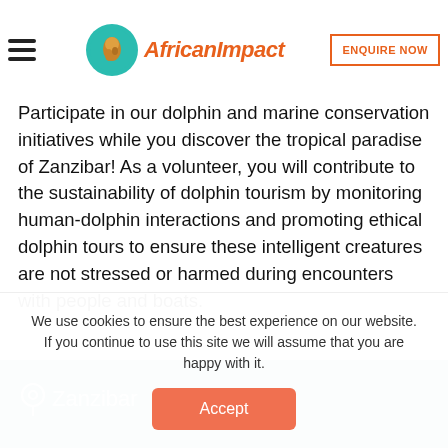AfricanImpact — ENQUIRE NOW
Participate in our dolphin and marine conservation initiatives while you discover the tropical paradise of Zanzibar! As a volunteer, you will contribute to the sustainability of dolphin tourism by monitoring human-dolphin interactions and promoting ethical dolphin tours to ensure these intelligent creatures are not stressed or harmed during encounters with people and boats.
Zanzibar
We use cookies to ensure the best experience on our website. If you continue to use this site we will assume that you are happy with it.
Accept